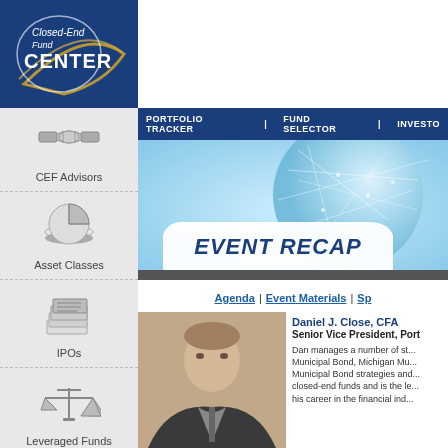[Figure (logo): Closed-End Fund CENTER logo — white text on dark blue background with curved swoosh design]
[Figure (illustration): Navigation sidebar icons: handshake icon for CEF Advisors, pie chart icon for Asset Classes, stacked papers icon for IPOs, balance scale icon for Leveraged Funds]
PORTFOLIO TRACKER | FUND SELECTOR | INVESTOR
[Figure (illustration): Blue globe/world map graphic banner with light blue network lines, featuring an EVENT RECAP label in an arched white banner at bottom]
Agenda | Event Materials | Sp...
Daniel J. Close, CFA
Senior Vice President, Port...
Dan manages a number of sta... Municipal Bond, Michigan Mu... Municipal Bond strategies and... closed-end funds and is the le... his career in the financial ind...